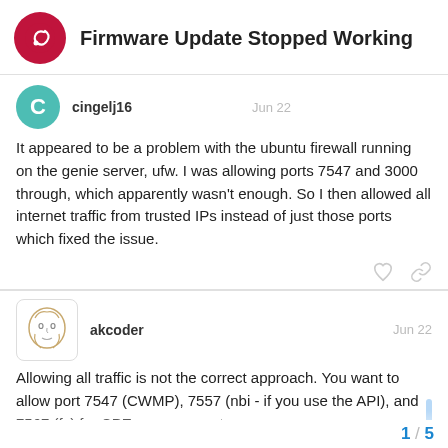Firmware Update Stopped Working
cingelj16  Jun 22
It appeared to be a problem with the ubuntu firewall running on the genie server, ufw. I was allowing ports 7547 and 3000 through, which apparently wasn't enough. So I then allowed all internet traffic from trusted IPs instead of just those ports which fixed the issue.
akcoder  Jun 22
Allowing all traffic is not the correct approach. You want to allow port 7547 (CWMP), 7557 (nbi - if you use the API), and 7567 (fs) for CPE management.
1 / 5